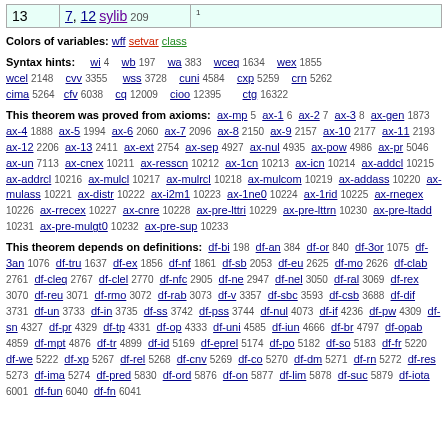| # | References | Notes |
| --- | --- | --- |
| 13 | 7, 12 sylib 209 | 1 |
Colors of variables: wff setvar class
Syntax hints: wi 4 wb 197 wa 383 wceq 1634 wex 1855 wcel 2148 cvv 3355 wss 3728 cuni 4584 cxp 5259 crn 5262 cima 5264 cfv 6038 cq 12009 cioo 12395 ctg 16322
This theorem was proved from axioms: ax-mp 5 ax-1 6 ax-2 7 ax-3 8 ax-gen 1873 ax-4 1888 ax-5 1994 ax-6 2060 ax-7 2096 ax-8 2150 ax-9 2157 ax-10 2177 ax-11 2193 ax-12 2206 ax-13 2411 ax-ext 2754 ax-sep 4927 ax-nul 4935 ax-pow 4986 ax-pr 5046 ax-un 7113 ax-cnex 10211 ax-resscn 10212 ax-1cn 10213 ax-icn 10214 ax-addcl 10215 ax-addrcl 10216 ax-mulcl 10217 ax-mulrcl 10218 ax-mulcom 10219 ax-addass 10220 ax-mulass 10221 ax-distr 10222 ax-i2m1 10223 ax-1ne0 10224 ax-1rid 10225 ax-rnegex 10226 ax-rrecex 10227 ax-cnre 10228 ax-pre-lttri 10229 ax-pre-lttrn 10230 ax-pre-ltadd 10231 ax-pre-mulgt0 10232 ax-pre-sup 10233
This theorem depends on definitions: df-bi 198 df-an 384 df-or 840 df-3or 1075 df-3an 1076 df-tru 1637 df-ex 1856 df-nf 1861 df-sb 2053 df-eu 2625 df-mo 2626 df-clab 2761 df-cleq 2767 df-clel 2770 df-nfc 2905 df-ne 2947 df-nel 3050 df-ral 3069 df-rex 3070 df-reu 3071 df-rmo 3072 df-rab 3073 df-v 3357 df-sbc 3593 df-csb 3688 df-dif 3731 df-un 3733 df-in 3735 df-ss 3742 df-pss 3744 df-nul 4073 df-if 4236 df-pw 4309 df-sn 4327 df-pr 4329 df-tp 4331 df-op 4333 df-uni 4585 df-iun 4666 df-br 4797 df-opab 4859 df-mpt 4876 df-tr 4899 df-id 5169 df-eprel 5174 df-po 5182 df-so 5183 df-fr 5220 df-we 5222 df-xp 5267 df-rel 5268 df-cnv 5269 df-co 5270 df-dm 5271 df-rn 5272 df-res 5273 df-ima 5274 df-pred 5830 df-ord 5876 df-on 5877 df-lim 5878 df-suc 5879 df-iota 6001 df-fun 6040 df-fn 6041